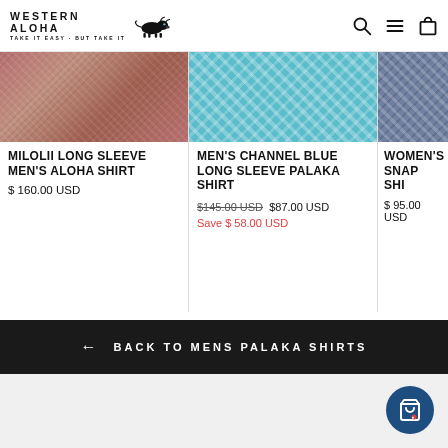Western Aloha - Take it easy but take it
[Figure (photo): Milolii fabric texture - reddish-brown Hawaiian print]
MILOLII LONG SLEEVE MEN'S ALOHA SHIRT
$ 160.00 USD
[Figure (photo): Channel Blue fabric texture - blue and white palaka plaid]
MEN'S CHANNEL BLUE LONG SLEEVE PALAKA SHIRT
$145.00 USD  $87.00 USD  Save $58.00 USD
[Figure (photo): Women's snap shirt fabric texture - blue grey plaid, partially visible]
WOMEN'S SNAP SHI...
$95.00 USD
← BACK TO MENS PALAKA SHIRTS